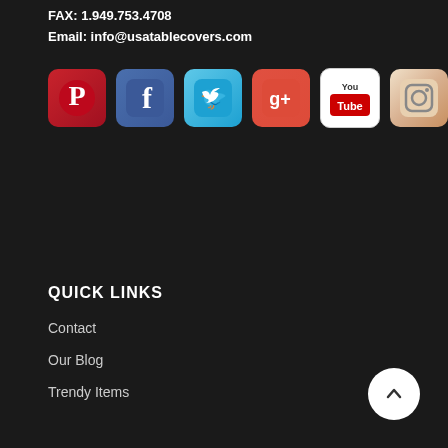FAX: 1.949.753.4708
Email: info@usatablecovers.com
[Figure (illustration): Row of six social media icons: Pinterest, Facebook, Twitter, Google+, YouTube, Instagram]
QUICK LINKS
Contact
Our Blog
Trendy Items